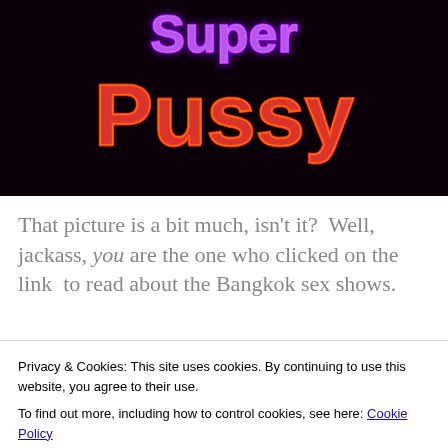[Figure (photo): Neon sign reading 'Super Pussy' in bright pink/red and purple neon lights against a dark background]
That picture is a bit much, isn't it?  Well, jackass, you are the one who clicked on the link  to read about the Bangkok sex shows.
First,  start here
Privacy & Cookies: This site uses cookies. By continuing to use this website, you agree to their use.
To find out more, including how to control cookies, see here: Cookie Policy
Close and accept